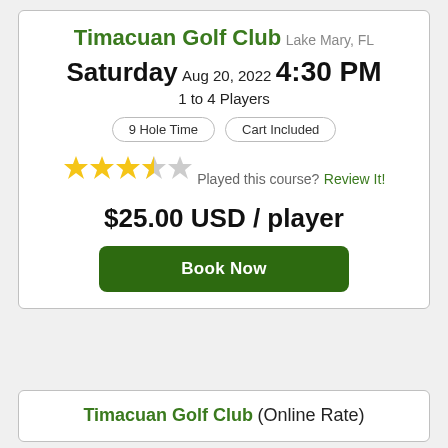Timacuan Golf Club
Lake Mary, FL
Saturday
Aug 20, 2022
4:30 PM
1 to 4 Players
9 Hole Time
Cart Included
[Figure (other): 3.5 out of 5 stars rating displayed as star icons]
Played this course?
Review It!
$25.00 USD / player
Book Now
Timacuan Golf Club (Online Rate)